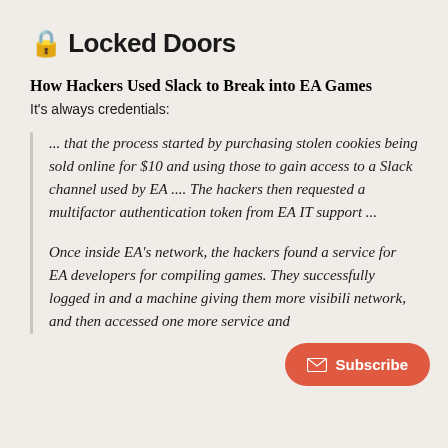🔒 Locked Doors
How Hackers Used Slack to Break into EA Games
It's always credentials:
... that the process started by purchasing stolen cookies being sold online for $10 and using those to gain access to a Slack channel used by EA .... The hackers then requested a multifactor authentication token from EA IT support ...
Once inside EA's network, the hackers found a service for EA developers for compiling games. They successfully logged in and [cloned] a machine giving them more visibili[ty into the] network, and then accessed one more service and